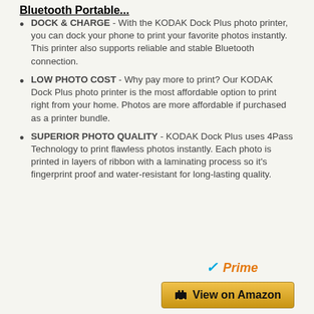Bluetooth Portable...
DOCK & CHARGE - With the KODAK Dock Plus photo printer, you can dock your phone to print your favorite photos instantly. This printer also supports reliable and stable Bluetooth connection.
LOW PHOTO COST - Why pay more to print? Our KODAK Dock Plus photo printer is the most affordable option to print right from your home. Photos are more affordable if purchased as a printer bundle.
SUPERIOR PHOTO QUALITY - KODAK Dock Plus uses 4Pass Technology to print flawless photos instantly. Each photo is printed in layers of ribbon with a laminating process so it's fingerprint proof and water-resistant for long-lasting quality.
[Figure (logo): Amazon Prime badge with checkmark and 'Prime' text in orange italic, followed by a 'View on Amazon' button with cart icon and gold/yellow gradient background]